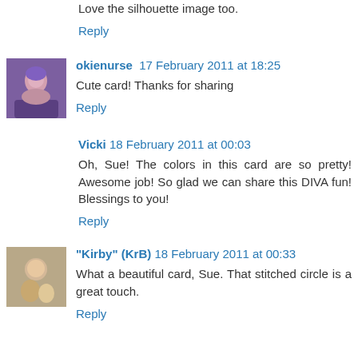Love the silhouette image too.
Reply
okienurse  17 February 2011 at 18:25
Cute card! Thanks for sharing
Reply
Vicki  18 February 2011 at 00:03
Oh, Sue! The colors in this card are so pretty! Awesome job! So glad we can share this DIVA fun! Blessings to you!
Reply
"Kirby" (KrB)  18 February 2011 at 00:33
What a beautiful card, Sue. That stitched circle is a great touch.
Reply